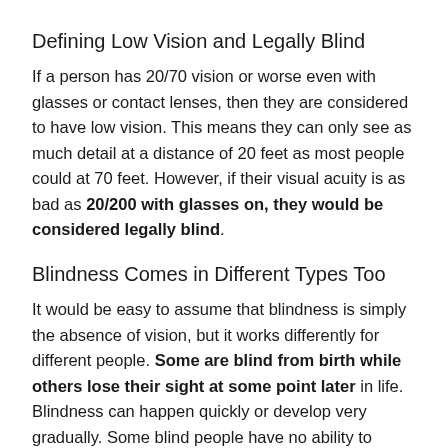Defining Low Vision and Legally Blind
If a person has 20/70 vision or worse even with glasses or contact lenses, then they are considered to have low vision. This means they can only see as much detail at a distance of 20 feet as most people could at 70 feet. However, if their visual acuity is as bad as 20/200 with glasses on, they would be considered legally blind.
Blindness Comes in Different Types Too
It would be easy to assume that blindness is simply the absence of vision, but it works differently for different people. Some are blind from birth while others lose their sight at some point later in life. Blindness can happen quickly or develop very gradually. Some blind people have no ability to perceive visual information at all, while others can tell the difference between light and darkness.